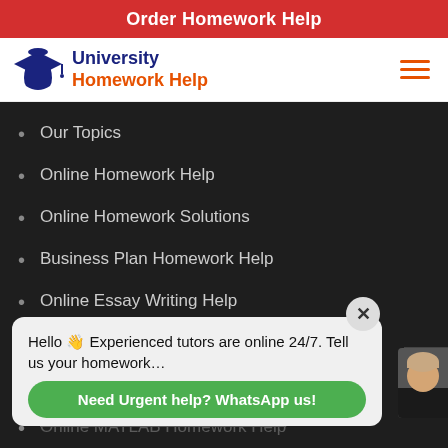Order Homework Help
[Figure (logo): University Homework Help logo with dark blue graduation cap icon, 'University' in dark blue bold text and 'Homework Help' in orange bold text, hamburger menu icon in orange on the right]
Our Topics
Online Homework Help
Online Homework Solutions
Business Plan Homework Help
Online Essay Writing Help
Dissertation Writing Help Online
Online Custom Homework Help
Hello 👋 Experienced tutors are online 24/7. Tell us your homework…
Need Urgent help? WhatsApp us!
Online MATLAB Homework Help